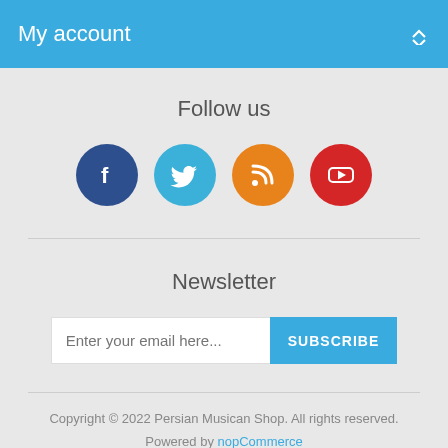My account
Follow us
[Figure (infographic): Four social media icon circles: Facebook (dark blue), Twitter (light blue), RSS (orange), YouTube (red)]
Newsletter
Enter your email here... SUBSCRIBE
Copyright © 2022 Persian Musican Shop. All rights reserved. Powered by nopCommerce